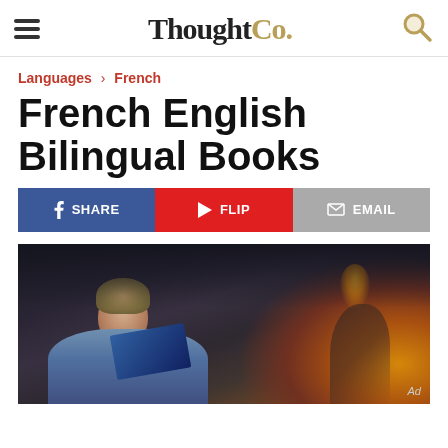ThoughtCo.
Languages › French
French English Bilingual Books
SHARE | FLIP | EMAIL
[Figure (photo): Woman reading a book in a dimly lit room with a fireplace and lamp in the background. Ad label visible in bottom right.]